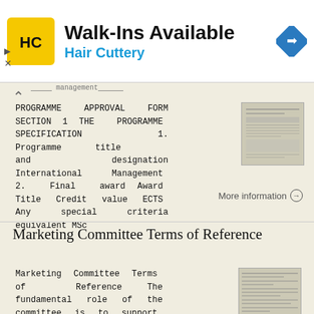[Figure (logo): Hair Cuttery advertisement banner with HC logo, 'Walk-Ins Available' text, and navigation icon]
PROGRAMME APPROVAL FORM SECTION 1 THE PROGRAMME SPECIFICATION 1. Programme title and designation International Management 2. Final award Award Title Credit value ECTS Any special criteria equivalent MSc
More information →
Marketing Committee Terms of Reference
Marketing Committee Terms of Reference The fundamental role of the committee is to support and work collaboratively with the Principal and the Business Development Officer, to offer suggestions and formulate